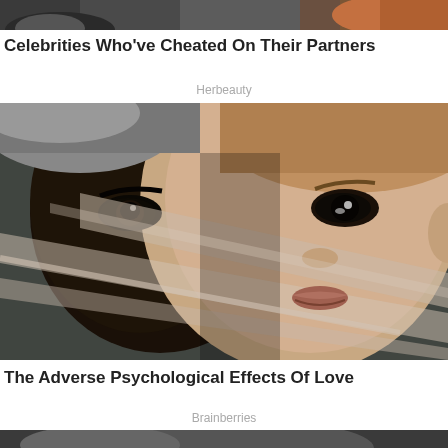[Figure (photo): Partial top strip showing two people in the background, cropped]
Celebrities Who've Cheated On Their Partners
Herbeauty
[Figure (photo): Artistic composite image showing two faces merged together with tape-like strips across them on a dark background]
The Adverse Psychological Effects Of Love
Brainberries
[Figure (photo): Bottom strip of another image, partially visible]